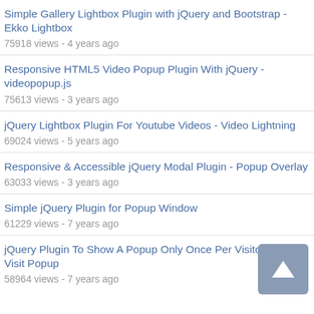Simple Gallery Lightbox Plugin with jQuery and Bootstrap - Ekko Lightbox
75918 views - 4 years ago
Responsive HTML5 Video Popup Plugin With jQuery - videopopup.js
75613 views - 3 years ago
jQuery Lightbox Plugin For Youtube Videos - Video Lightning
69024 views - 5 years ago
Responsive & Accessible jQuery Modal Plugin - Popup Overlay
63033 views - 3 years ago
Simple jQuery Plugin for Popup Window
61229 views - 7 years ago
jQuery Plugin To Show A Popup Only Once Per Visitor - First Visit Popup
58964 views - 7 years ago